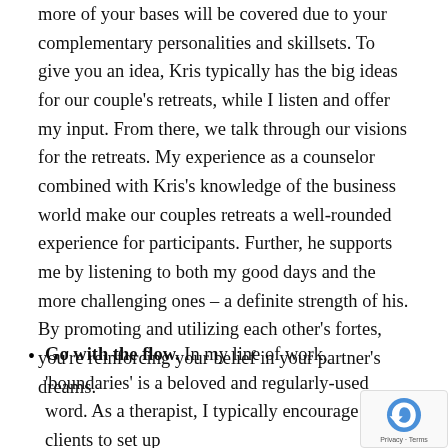more of your bases will be covered due to your complementary personalities and skillsets. To give you an idea, Kris typically has the big ideas for our couple's retreats, while I listen and offer my input. From there, we talk through our visions for the retreats. My experience as a counselor combined with Kris's knowledge of the business world make our couples retreats a well-rounded experience for participants. Further, he supports me by listening to both my good days and the more challenging ones – a definite strength of his. By promoting and utilizing each other's fortes, you're reinforcing your belief in your partner's dreams.
Go with the flow. In my line of work, 'boundaries' is a beloved and regularly-used word. As a therapist, I typically encourage clients to set up